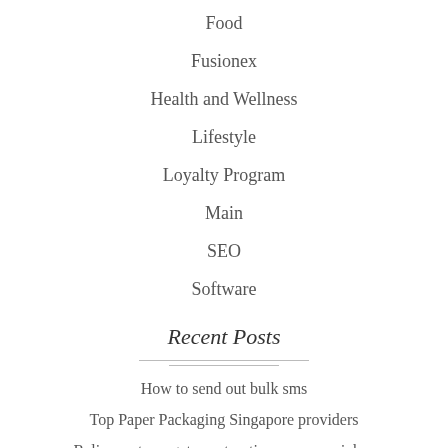Food
Fusionex
Health and Wellness
Lifestyle
Loyalty Program
Main
SEO
Software
Recent Posts
How to send out bulk sms
Top Paper Packaging Singapore providers
Reliever stress get construction company johor